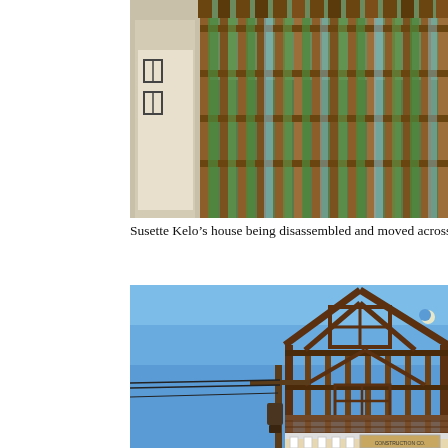[Figure (photo): Susette Kelo's house being disassembled — wooden frame structure with exposed studs and beams, green trees visible in background, partial view of a white board with window outlines on the left side.]
Susette Kelo’s house being disassembled and moved across t
[Figure (photo): Wooden frame skeleton of a house against a clear blue sky, with a utility pole and power lines on the left, a crescent moon visible in the upper right, and construction signage visible at the bottom.]